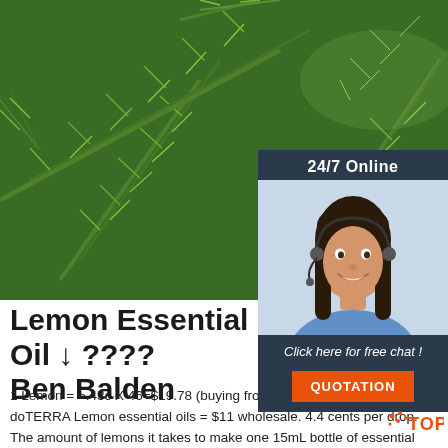[Figure (photo): Close-up photo of green herb plant (lemon-scented plant/rosemary-like foliage) with fine needle-like green leaves filling most of the frame]
[Figure (infographic): Chat widget overlay with dark navy background. Shows '24/7 Online' heading, a photo of a female customer service agent wearing a headset and smiling, text 'Click here for free chat !' and an orange 'QUOTATION' button]
Lemon Essential Oil ↓ ???? Ben Balden
1 Lemon = >.43c X 46=$19.78 (buying from the grocery store) 15mL doTERRA Lemon essential oils = $11 wholesale. 4.4 cents per drop. The amount of lemons it takes to make one 15mL bottle of essential oils vary, and the reported amount from doTERRA seems to …